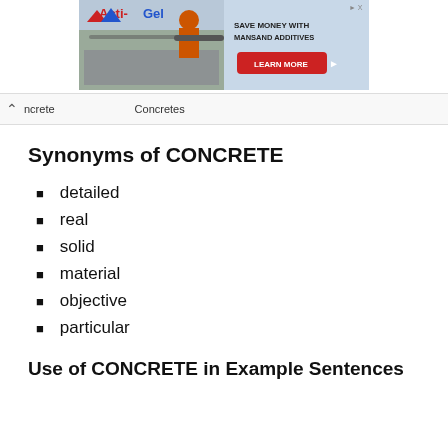[Figure (photo): Acti-Gel advertisement banner: left side shows a worker spreading concrete with a tool, right side shows 'SAVE MONEY WITH MANSAND ADDITIVES' text and a red 'LEARN MORE' button. Acti-Gel logo in red and blue.]
ncrete   Concretes
Synonyms of CONCRETE
detailed
real
solid
material
objective
particular
Use of CONCRETE in Example Sentences